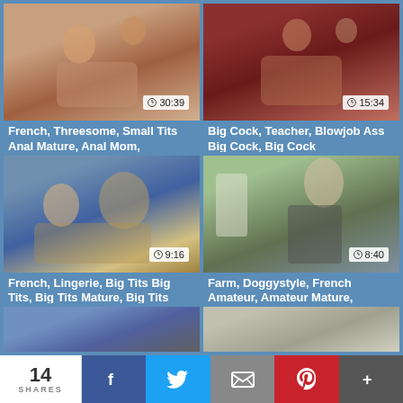[Figure (photo): Video thumbnail showing adult content with duration 30:39]
French, Threesome, Small Tits Anal Mature, Anal Mom,
[Figure (photo): Video thumbnail showing adult content with duration 15:34]
Big Cock, Teacher, Blowjob Ass Big Cock, Big Cock
[Figure (photo): Video thumbnail showing adult content with duration 9:16]
French, Lingerie, Big Tits Big Tits, Big Tits Mature, Big Tits
[Figure (photo): Video thumbnail showing adult content with duration 8:40]
Farm, Doggystyle, French Amateur, Amateur Mature,
[Figure (photo): Partial video thumbnail (bottom row left)]
[Figure (photo): Partial video thumbnail (bottom row right)]
14 SHARES
f
Twitter share button
Email share button
Pinterest share button
+